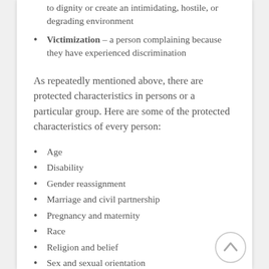to dignity or create an intimidating, hostile, or degrading environment
Victimization – a person complaining because they have experienced discrimination
As repeatedly mentioned above, there are protected characteristics in persons or a particular group. Here are some of the protected characteristics of every person:
Age
Disability
Gender reassignment
Marriage and civil partnership
Pregnancy and maternity
Race
Religion and belief
Sex and sexual orientation